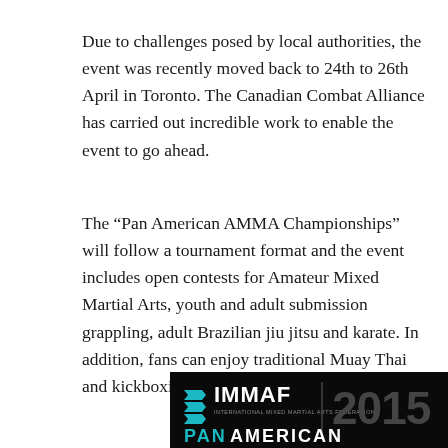Due to challenges posed by local authorities, the event was recently moved back to 24th to 26th April in Toronto. The Canadian Combat Alliance has carried out incredible work to enable the event to go ahead.
The “Pan American AMMA Championships” will follow a tournament format and the event includes open contests for Amateur Mixed Martial Arts, youth and adult submission grappling, adult Brazilian jiu jitsu and karate. In addition, fans can enjoy traditional Muay Thai and kickboxing matches featured at the event.
[Figure (logo): IMMAF 2015 Pan American banner on black background with teal logo and white text]